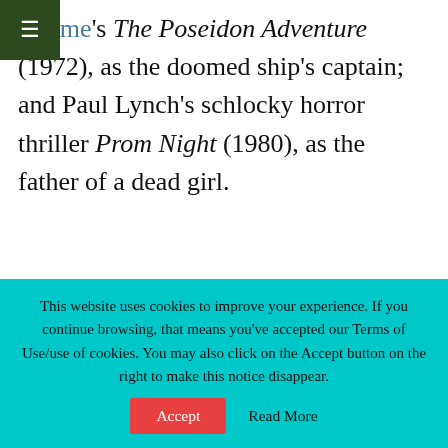Neame's The Poseidon Adventure (1972), as the doomed ship's captain; and Paul Lynch's schlocky horror thriller Prom Night (1980), as the father of a dead girl.
Recommended for You
[Figure (photo): Black and white portrait photo of a man]
Bryan Forbes: Katharine Hepburn + The Stepford Wives Director
This website uses cookies to improve your experience. If you continue browsing, that means you've accepted our Terms of Use/use of cookies. You may also click on the Accept button on the right to make this notice disappear.